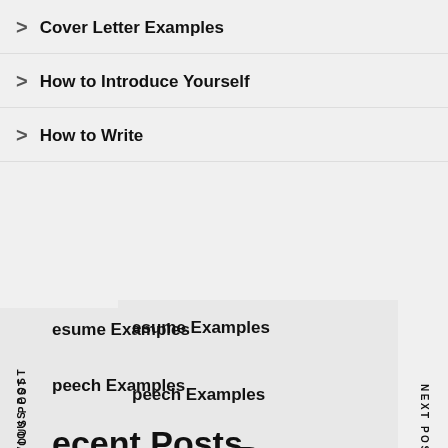Cover Letter Examples
How to Introduce Yourself
How to Write
Resume Examples
Speech Examples
Recent Posts
Reverse Chronological Cv Example
What To Write In An Email When Sending A Resume For Experienced
What To Write In An Email When Sending A